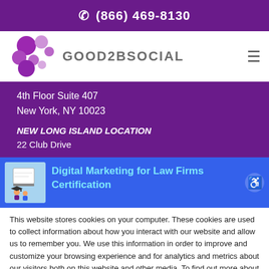(866) 469-8130
[Figure (logo): Good2BSocial logo with purple bubble circles and text]
4th Floor Suite 407
New York, NY 10023
NEW LONG ISLAND LOCATION
22 Club Drive
[Figure (screenshot): Digital Marketing for Law Firms Certification notification bar with thumbnail image]
This website stores cookies on your computer. These cookies are used to collect information about how you interact with our website and allow us to remember you. We use this information in order to improve and customize your browsing experience and for analytics and metrics about our visitors both on this website and other media. To find out more about the cookies we use, see our Privacy Policy.
Accept